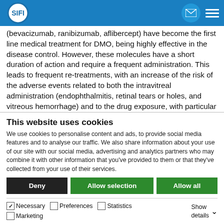SIFI — website navigation bar with logo, email icon, and menu icon
(bevacizumab, ranibizumab, aflibercept) have become the first line medical treatment for DMO, being highly effective in the disease control. However, these molecules have a short duration of action and require a frequent administration. This leads to frequent re-treatments, with an increase of the risk of the adverse events related to both the intravitreal administration (endophthalmitis, retinal tears or holes, and vitreous hemorrhage) and to the drug exposure, with particular concern to cardiovascular risk.
Due to their anti-inflammatory, angiostatic and
This website uses cookies
We use cookies to personalise content and ads, to provide social media features and to analyse our traffic. We also share information about your use of our site with our social media, advertising and analytics partners who may combine it with other information that you've provided to them or that they've collected from your use of their services.